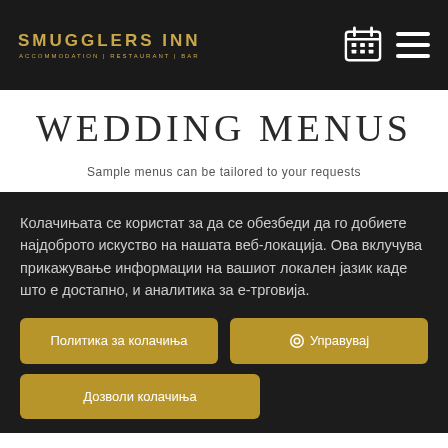SMUGGLERS INN | ACCOMMODATION | RESTAURANT | BAR
WEDDING MENUS
Sample menus can be tailored to your requests
Колачињата се користат за да се обезбеди да го добиете најдоброто искуство на нашата веб-локација. Ова вклучува прикажување информации на вашиот локален јазик каде што е достапно, и аналитика за е-трговија.
Политика за колачиња
⚙ Управувај
Дозволи колачиња